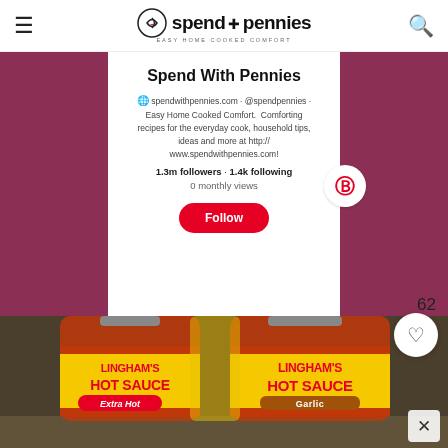spend with pennies — EASY HOME COOKED COMFORT
[Figure (screenshot): Pinterest profile page for Spend With Pennies showing profile info, 1.3m followers, 1.4k following, 0 monthly views, and a Follow button in red]
62
[Figure (photo): Photo of two bottles of Lingham's Hot Sauce — one Extra Hot and one Garlic variety, with yellow labels and red sauce visible through the glass bottles]